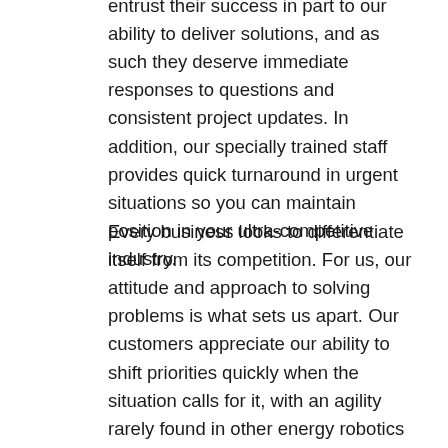entrust their success in part to our ability to deliver solutions, and as such they deserve immediate responses to questions and consistent project updates. In addition, our specially trained staff provides quick turnaround in urgent situations so you can maintain position in your ultra-competitive industry.
Every business looks to differentiate itself from its competition. For us, our attitude and approach to solving problems is what sets us apart. Our customers appreciate our ability to shift priorities quickly when the situation calls for it, with an agility rarely found in other energy robotics manufacturing centers suppliers. This holds true whether we are working with a frequent customer or a first-time partner.